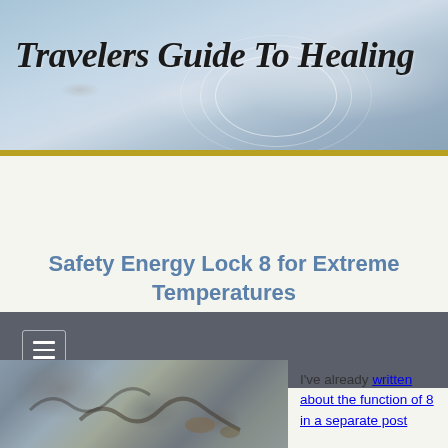[Figure (photo): Water ripple/splash background image used as website header banner]
Travelers Guide To Healing
[Figure (other): Dark gray navigation bar with hamburger menu icon (three horizontal lines)]
Safety Energy Lock 8 for Extreme Temperatures
[Figure (photo): Photograph showing draped gray fabric with antler or branch-like objects]
I've already written about the function of 8 in a separate post